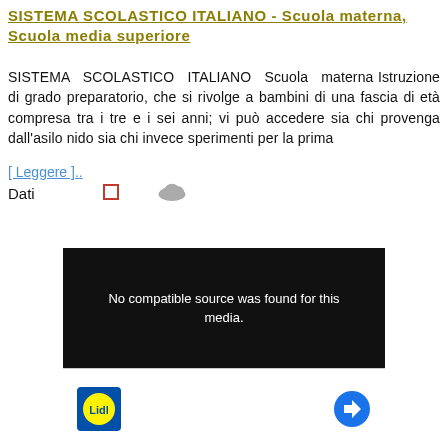SISTEMA SCOLASTICO ITALIANO - Scuola materna, Scuola media superiore
SISTEMA SCOLASTICO ITALIANO Scuola materna Istruzione di grado preparatorio, che si rivolge a bambini di una fascia di età compresa tra i tre e i sei anni; vi può accedere sia chi provenga dall'asilo nido sia chi invece sperimenti per la prima
[ Leggere ]..
Dati
[Figure (screenshot): Video player showing 'No compatible source was found for this media.' message on dark background]
[Figure (screenshot): Advertisement block with Lidl logo and navigation/direction icon, with play and close controls]